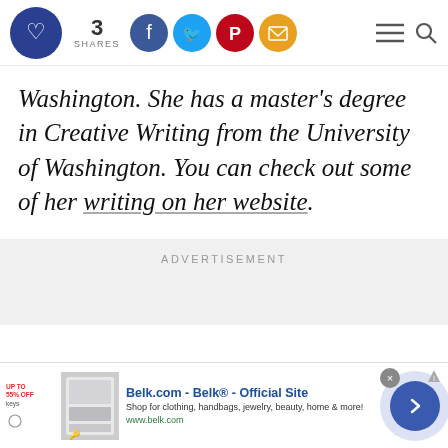3 SHARES [social icons: Facebook, Twitter, Pinterest, Email] [hamburger menu] [search]
Washington. She has a master's degree in Creative Writing from the University of Washington. You can check out some of her writing on her website.
ADVERTISEMENT
[Figure (screenshot): Bottom advertisement banner for Belk.com - Belk® Official Site. Shows thumbnail of bedding product with sale tags, headline text 'Belk.com - Belk® - Official Site', description 'Shop for clothing, handbags, jewelry, beauty, home & more!', URL 'www.belk.com', close button (×), AdChoices icon, and navigation arrow button.]